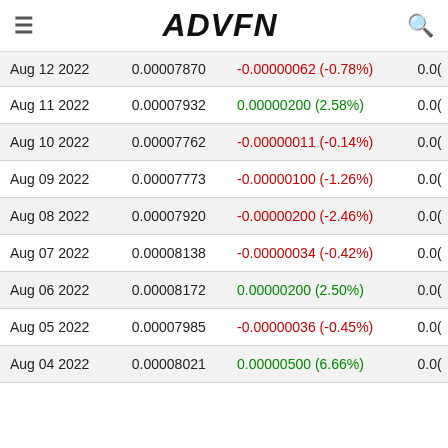ADVFN
| Date | Price | Change |  |
| --- | --- | --- | --- |
| Aug 12 2022 | 0.00007870 | -0.00000062 (-0.78%) | 0.0( |
| Aug 11 2022 | 0.00007932 | 0.00000200 (2.58%) | 0.0( |
| Aug 10 2022 | 0.00007762 | -0.00000011 (-0.14%) | 0.0( |
| Aug 09 2022 | 0.00007773 | -0.00000100 (-1.26%) | 0.0( |
| Aug 08 2022 | 0.00007920 | -0.00000200 (-2.46%) | 0.0( |
| Aug 07 2022 | 0.00008138 | -0.00000034 (-0.42%) | 0.0( |
| Aug 06 2022 | 0.00008172 | 0.00000200 (2.50%) | 0.0( |
| Aug 05 2022 | 0.00007985 | -0.00000036 (-0.45%) | 0.0( |
| Aug 04 2022 | 0.00008021 | 0.00000500 (6.66%) | 0.0( |